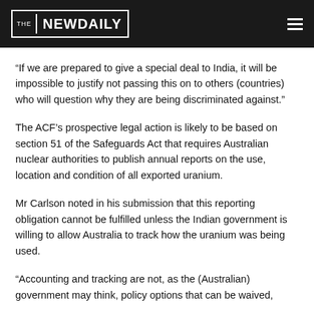THE NEW DAILY
“If we are prepared to give a special deal to India, it will be impossible to justify not passing this on to others (countries) who will question why they are being discriminated against.”
The ACF’s prospective legal action is likely to be based on section 51 of the Safeguards Act that requires Australian nuclear authorities to publish annual reports on the use, location and condition of all exported uranium.
Mr Carlson noted in his submission that this reporting obligation cannot be fulfilled unless the Indian government is willing to allow Australia to track how the uranium was being used.
“Accounting and tracking are not, as the (Australian) government may think, policy options that can be waived,